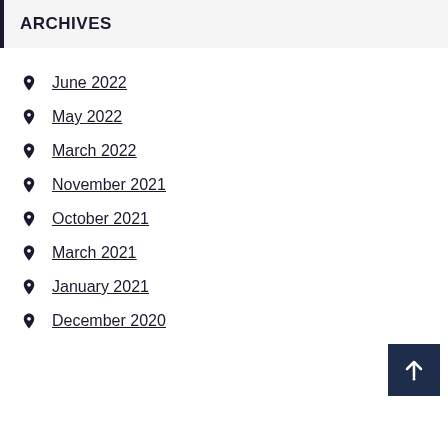ARCHIVES
June 2022
May 2022
March 2022
November 2021
October 2021
March 2021
January 2021
December 2020